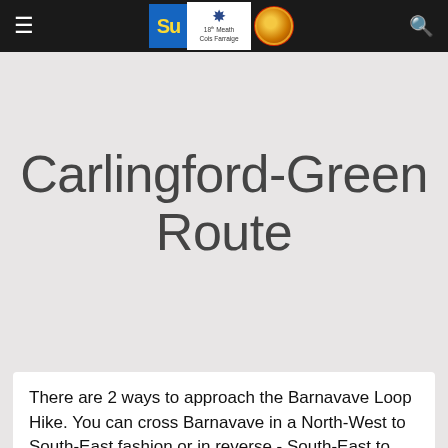Carlingford-Green Route — site navigation bar with logo
Carlingford-Green Route
There are 2 ways to approach the Barnavave Loop Hike. You can cross Barnavave in a North-West to South-East fashion or in reverse - South-East to